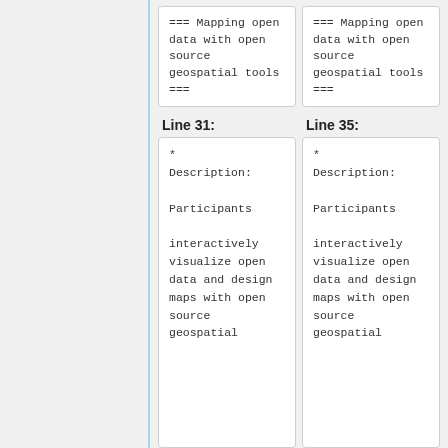=== Mapping open data with open source geospatial tools ===
=== Mapping open data with open source geospatial tools ===
Line 31:
Line 35:
* Description: Participants interactively visualize open data and design maps with open source geospatial
* Description: Participants interactively visualize open data and design maps with open source geospatial